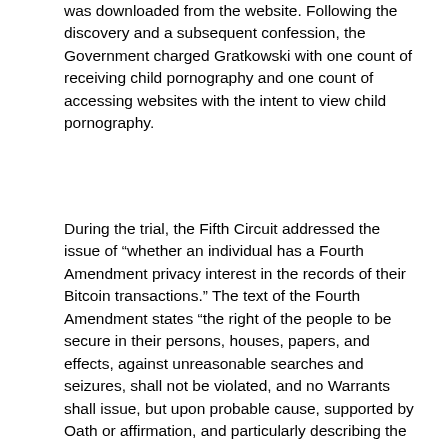was downloaded from the website. Following the discovery and a subsequent confession, the Government charged Gratkowski with one count of receiving child pornography and one count of accessing websites with the intent to view child pornography.
During the trial, the Fifth Circuit addressed the issue of “whether an individual has a Fourth Amendment privacy interest in the records of their Bitcoin transactions.” The text of the Fourth Amendment states “the right of the people to be secure in their persons, houses, papers, and effects, against unreasonable searches and seizures, shall not be violated, and no Warrants shall issue, but upon probable cause, supported by Oath or affirmation, and particularly describing the place to be searched, and the persons or things to be seized.” Essentially, the intent of the Fourth Amendment is to protect U.S. citizens from unreasonable searches and seizures by the government. The crux of Gratkowski’s argument is that he was subject to an unreasonable search and seizure by the U.S. government when they used his Bitcoin records as evidence against him. Nevertheless, this argument is wholly unpersuasive because Gratkowski’s Bitcoin purchases did not